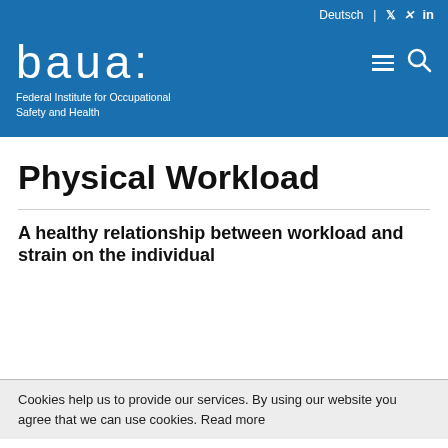Deutsch | Twitter | Xing | in
[Figure (logo): baua: Federal Institute for Occupational Safety and Health logo on blue background]
Physical Workload
A healthy relationship between workload and strain on the individual
Cookies help us to provide our services. By using our website you agree that we can use cookies. Read more